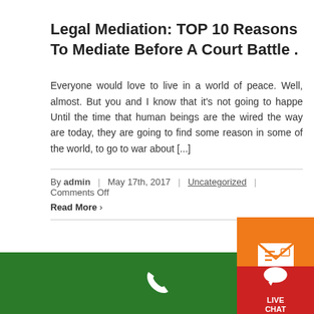Legal Mediation: TOP 10 Reasons To Mediate Before A Court Battle .
Everyone would love to live in a world of peace. Well, almost. But you and I know that it’s not going to happe Until the time that human beings are the wired the way are today, they are going to find some reason in some of the world, to go to war about [...]
By admin | May 17th, 2017 | Uncategorized | Comments Off
Read More ›
[Figure (other): Orange contact form button with envelope icon and text CONTACT FORM]
[Figure (other): Red live chat button with speech bubble icon and text LIVE CHAT]
[Figure (other): Green footer bar with white phone icon]